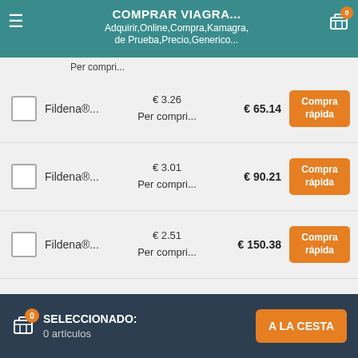COMPRAR VIAGRA | Adquirir,Online,Compra,Kamagra, de Prueba,Precio,Generico...
Per compri...
Fildena®... € 3.26 Per compri... € 65.14 Compra rápida
Fildena®... € 3.01 Per compri... € 90.21 Compra rápida
Fildena®... € 2.51 Per compri... € 150.38 Compra rápida
Fildena®... € 2.23 Per compri... € 200.53 Compra rápida
Fildena® € 2.09 € 250.67 Compra
SELECCIONADO: 0 artículos | A LA CESTA